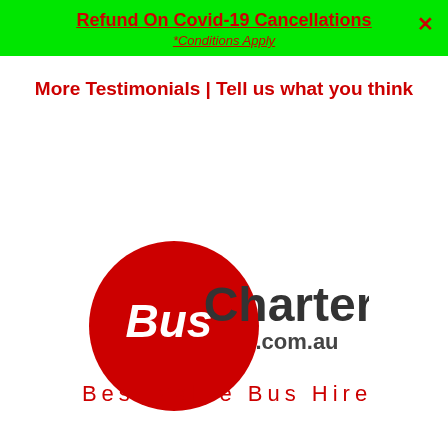Refund On Covid-19 Cancellations *Conditions Apply
More Testimonials | Tell us what you think
[Figure (logo): BusCharter.com.au logo with red circle containing 'Bus' in white bold italic text, 'Charter' in dark grey bold text, '.com.au' in dark grey, and 'Best Value Bus Hire' tagline in red below]